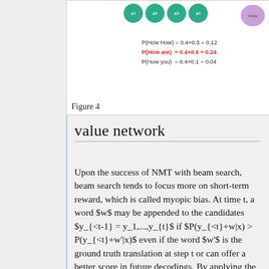[Figure (other): Partial view of Figure 4 showing green input nodes (x1, x2, x3, x4), a pink 'How' node, and probability calculations: P(How How)=0.4×0.3=0.12, P(How are)=0.4×0.6=0.24 (in red), P(How you)=0.4×0.1=0.04]
Figure 4
value network
Upon the success of NMT with beam search, beam search tends to focus more on short-term reward, which is called myopic bias. At time t, a word $w$ may be appended to the candidates $y_{<t-1} = y_1,...,y_{t}$ if $P(y_{<t}+w|x) > P(y_{<t}+w'|x)$ even if the word $w'$ is the ground truth translation at step t or can offer a better score in future decodings. By applying the concept of value function in